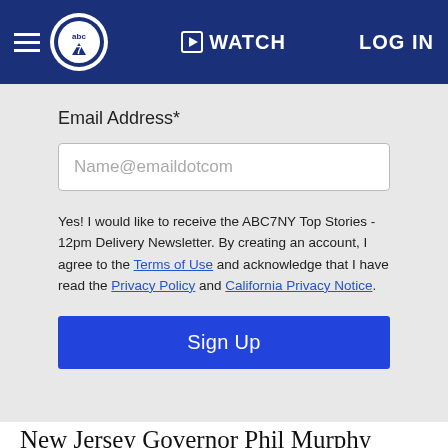abc7 | WATCH | LOG IN
Email Address*
Name@emaildotcom
Yes! I would like to receive the ABC7NY Top Stories - 12pm Delivery Newsletter. By creating an account, I agree to the Terms of Use and acknowledge that I have read the Privacy Policy and California Privacy Notice.
Sign Up
New Jersey Governor Phil Murphy renewed his call for the passage of the comprehensive gun safety legislative package that he initially proposed in April